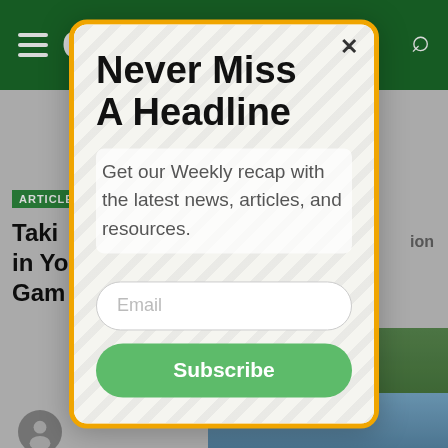[Figure (screenshot): Background of a golf website with green header navigation bar showing hamburger menu and search icon, article section with bold headline text partially visible, and golf course image in lower right corner.]
Never Miss A Headline
Get our Weekly recap with the latest news, articles, and resources.
Email
Subscribe